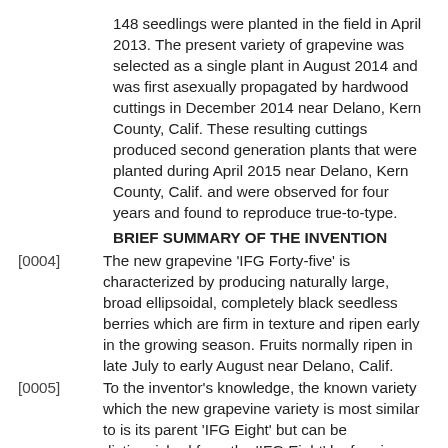148 seedlings were planted in the field in April 2013. The present variety of grapevine was selected as a single plant in August 2014 and was first asexually propagated by hardwood cuttings in December 2014 near Delano, Kern County, Calif. These resulting cuttings produced second generation plants that were planted during April 2015 near Delano, Kern County, Calif. and were observed for four years and found to reproduce true-to-type.
BRIEF SUMMARY OF THE INVENTION
[0004] The new grapevine 'IFG Forty-five' is characterized by producing naturally large, broad ellipsoidal, completely black seedless berries which are firm in texture and ripen early in the growing season. Fruits normally ripen in late July to early August near Delano, Calif.
[0005] To the inventor's knowledge, the known variety which the new grapevine variety is most similar to is its parent 'IFG Eight' but can be distinguished from the 'IFG Eight' by forming fewer and weaker axillary shoots, having a looser less compact cluster, by having a smaller less noticeable seed